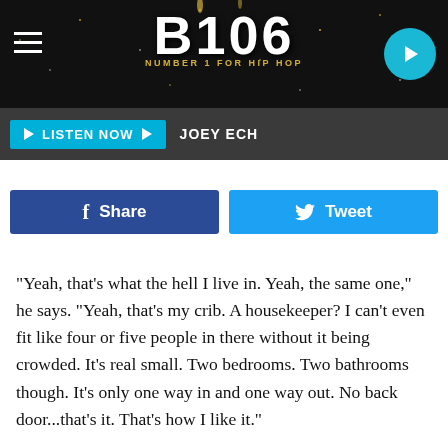[Figure (screenshot): B106 radio station website header banner with logo, hamburger menu, and play button]
LISTEN NOW  JOEY ECH
[Figure (infographic): Facebook Share and Twitter Tweet social sharing buttons]
"Yeah, that's what the hell I live in. Yeah, the same one," he says. "Yeah, that's my crib. A housekeeper? I can't even fit like four or five people in there without it being crowded. It's real small. Two bedrooms. Two bathrooms though. It's only one way in and one way out. No back door...that's it. That's how I like it."
Ebro and the hosts ask Red why he never chose to upgrade into a larger home and different neighborhood over the years,